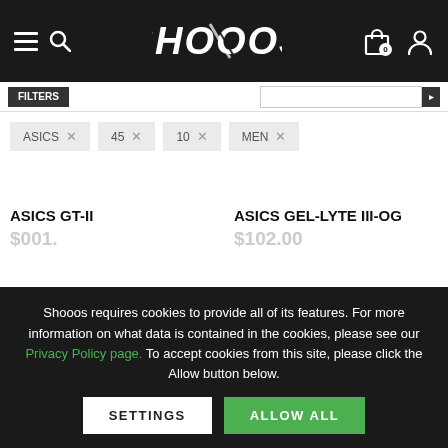SHOOOS header navigation with hamburger menu, search, logo, cart (0), and user icon
ASICS × 45 × 10 × MEN ×
ASICS GT-II
ASICS GEL-LYTE III-OG
Shooos requires cookies to provide all of its features. For more information on what data is contained in the cookies, please see our Privacy Policy page. To accept cookies from this site, please click the Allow button below.
SETTINGS | ALLOW ALL